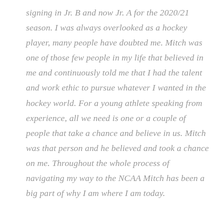signing in Jr. B and now Jr. A for the 2020/21 season. I was always overlooked as a hockey player, many people have doubted me. Mitch was one of those few people in my life that believed in me and continuously told me that I had the talent and work ethic to pursue whatever I wanted in the hockey world. For a young athlete speaking from experience, all we need is one or a couple of people that take a chance and believe in us. Mitch was that person and he believed and took a chance on me. Throughout the whole process of navigating my way to the NCAA Mitch has been a big part of why I am where I am today.